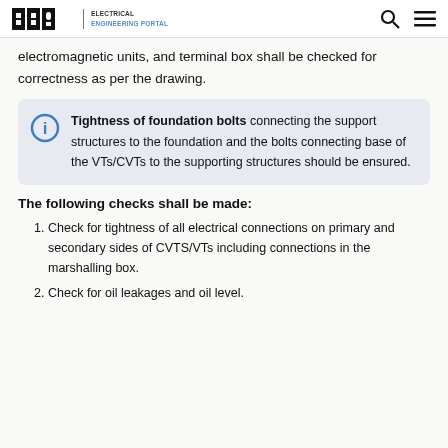EEP | ELECTRICAL ENGINEERING PORTAL
electromagnetic units, and terminal box shall be checked for correctness as per the drawing.
Tightness of foundation bolts connecting the support structures to the foundation and the bolts connecting base of the VTs/CVTs to the supporting structures should be ensured.
The following checks shall be made:
Check for tightness of all electrical connections on primary and secondary sides of CVTS/VTs including connections in the marshalling box.
Check for oil leakages and oil level.